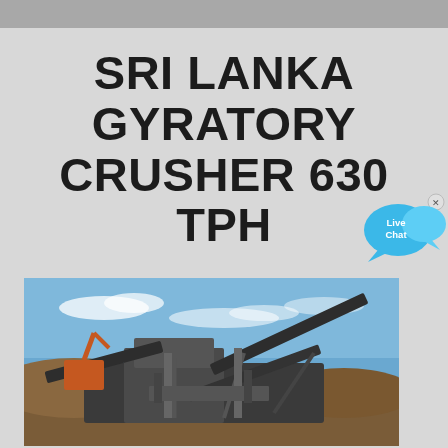SRI LANKA GYRATORY CRUSHER 630 TPH
[Figure (illustration): Live Chat widget with speech bubble icon in blue]
[Figure (photo): Gyratory crusher machinery at a quarry site with blue sky, conveyor belts and excavator visible in background]